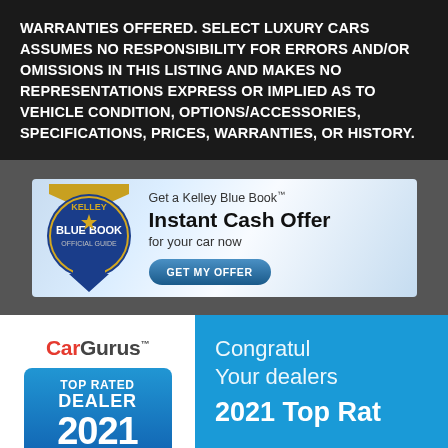WARRANTIES OFFERED. SELECT LUXURY CARS ASSUMES NO RESPONSIBILITY FOR ERRORS AND/OR OMISSIONS IN THIS LISTING AND MAKES NO REPRESENTATIONS EXPRESS OR IMPLIED AS TO VEHICLE CONDITION, OPTIONS/ACCESSORIES, SPECIFICATIONS, PRICES, WARRANTIES, OR HISTORY.
[Figure (infographic): Kelley Blue Book banner ad: 'Get a Kelley Blue Book Instant Cash Offer for your car now' with a GET MY OFFER button and KBB badge logo]
[Figure (infographic): CarGurus Top Rated Dealer 2021 badge on white background on the left, and on the right a blue background with text 'Congratu[lations]', 'Your dealers[hip]', '2021 Top Rat[ed]']